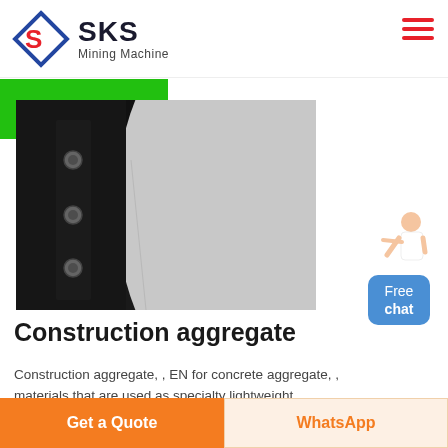SKS Mining Machine
Live Chat
[Figure (photo): Close-up industrial photo of a large grinding or crushing machine interior, showing bolts on a dark metal frame and a light-grey curved surface, in dark lighting]
Construction aggregate
Construction aggregate, , EN for concrete aggregate, , materials that are used as specialty lightweight
Get a Quote
WhatsApp